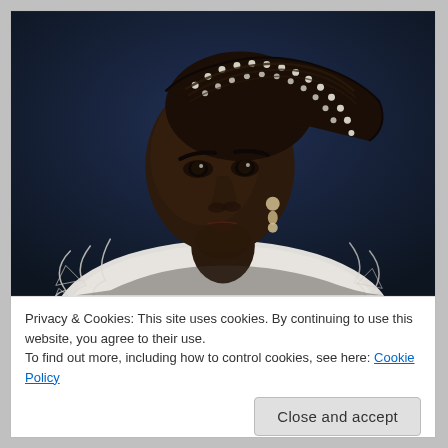[Figure (illustration): Portrait painting of a woman with dark complexion wearing an Elizabethan-style white lace ruff collar and pearl-adorned braided hair, against a dark blue background. The painting is in the style of classical Renaissance portraiture.]
Privacy & Cookies: This site uses cookies. By continuing to use this website, you agree to their use.
To find out more, including how to control cookies, see here: Cookie Policy
Close and accept